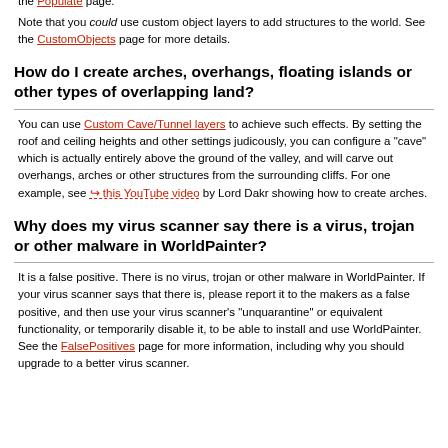population step. For more details about this technique, see ↪this YouTube video by Fornan II. For more details about the proper use of the Populate layer, see the Populate page.
Note that you could use custom object layers to add structures to the world. See the CustomObjects page for more details.
How do I create arches, overhangs, floating islands or other types of overlapping land?
You can use Custom Cave/Tunnel layers to achieve such effects. By setting the roof and ceiling heights and other settings judicously, you can configure a "cave" which is actually entirely above the ground of the valley, and will carve out overhangs, arches or other structures from the surrounding cliffs. For one example, see ↪this YouTube video by Lord Dakr showing how to create arches.
Why does my virus scanner say there is a virus, trojan or other malware in WorldPainter?
It is a false positive. There is no virus, trojan or other malware in WorldPainter. If your virus scanner says that there is, please report it to the makers as a false positive, and then use your virus scanner's "unquarantine" or equivalent functionality, or temporarily disable it, to be able to install and use WorldPainter. See the FalsePositives page for more information, including why you should upgrade to a better virus scanner.